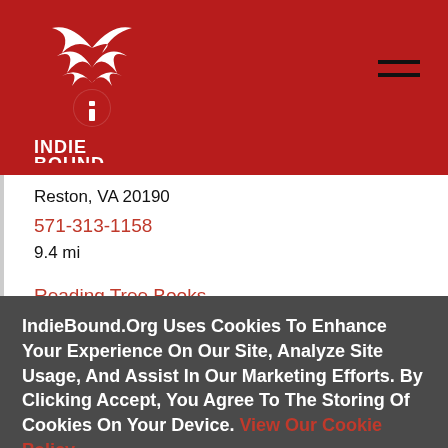[Figure (logo): IndieBound logo — white stylized book/bird graphic on red background with 'INDIE BOUND' text below in white]
Reston, VA 20190
571-313-1158
9.4 mi
Reading Tree Books
Herndon, VA 20170
571-170-0010 (partially visible)
IndieBound.Org Uses Cookies To Enhance Your Experience On Our Site, Analyze Site Usage, And Assist In Our Marketing Efforts. By Clicking Accept, You Agree To The Storing Of Cookies On Your Device. View Our Cookie Policy.
Give me more info
Accept all Cookies